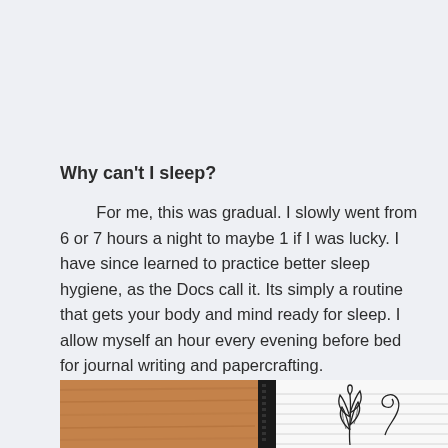Why can't I sleep?
For me, this was gradual. I slowly went from 6 or 7 hours a night to maybe 1 if I was lucky. I have since learned to practice better sleep hygiene, as the Docs call it. Its simply a routine that gets your body and mind ready for sleep. I allow myself an hour every evening before bed for journal writing and papercrafting.
[Figure (photo): Photo showing a wooden surface with a black journal/notebook open to a white lined page with an illustrated botanical drawing (leaves and a spiral/flourish) in black ink.]